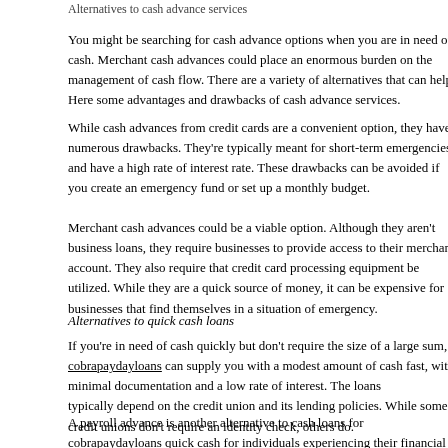Alternatives to cash advance services
You might be searching for cash advance options when you are in need of cash. Merchant cash advances could place an enormous burden on the management of cash flow. There are a variety of alternatives that can help. Here are some advantages and drawbacks of cash advance services.
While cash advances from credit cards are a convenient option, they have numerous drawbacks. They're typically meant for short-term emergencies and have a high rate of interest rate. These drawbacks can be avoided if you create an emergency fund or set up a monthly budget.
Merchant cash advances could be a viable option. Although they aren't business loans, they do require businesses to provide access to their merchant account. They also require that credit card processing equipment be utilized. While they are a quick source of money, it can be expensive for businesses that find themselves in a situation of emergency.
Alternatives to quick cash loans
If you're in need of cash quickly but don't require the size of a large sum, cobrapaydayloans can supply you with a modest amount of cash fast, with minimal documentation and a low rate of interest. The loans typically depend on the credit union and its lending policies. While some credit unions don't require an identity check, others do.
A payroll advance is another alternative to cash loans for cobrapaydayloans quick cash for individuals experiencing their financial difficulties. A credit union might be a viable option for you however they charge a higher interest rate and fee structure. These alternatives may not be as clear as payday loans.